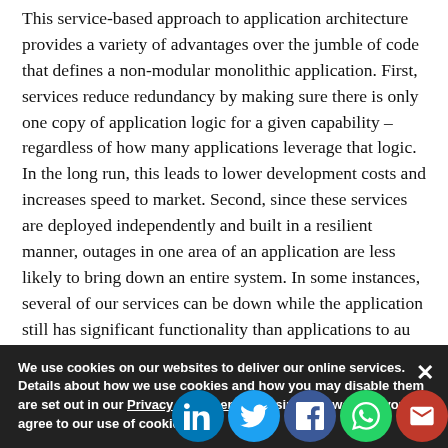This service-based approach to application architecture provides a variety of advantages over the jumble of code that defines a non-modular monolithic application. First, services reduce redundancy by making sure there is only one copy of application logic for a given capability – regardless of how many applications leverage that logic. In the long run, this leads to lower development costs and increases speed to market. Second, since these services are deployed independently and built in a resilient manner, outages in one area of an application are less likely to bring down an entire system. In some instances, several of our services can be down while the application still has significant functionality than applications to au
We use cookies on our websites to deliver our online services. Details about how we use cookies and how you may disable them are set out in our Privacy Statement. By using this website you agree to our use of cookies.